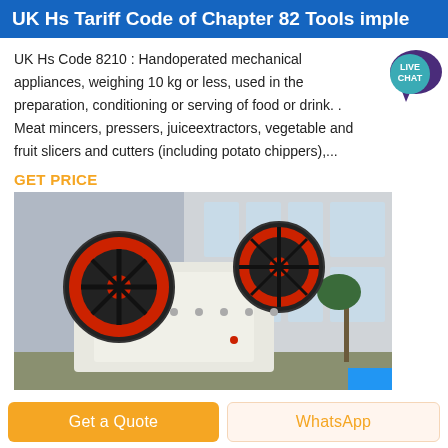UK Hs Tariff Code of Chapter 82 Tools imple
UK Hs Code 8210 : Handoperated mechanical appliances, weighing 10 kg or less, used in the preparation, conditioning or serving of food or drink. . Meat mincers, pressers, juiceextractors, vegetable and fruit slicers and cutters (including potato chippers),...
GET PRICE
[Figure (photo): Industrial jaw crusher machine with two large red and black flywheel discs, white body, photographed outdoors in front of a building with windows and palm trees visible in background.]
Get a Quote
WhatsApp